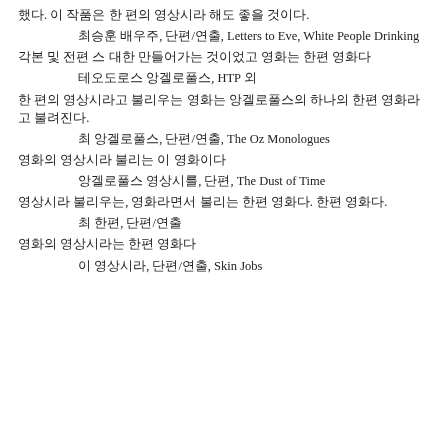했다. 이 작품은 한 편의 영상시라 해도 좋을 것이다.
최승훈 배우주, 단편/연출, Letters to Eve, White People Drinking
각본 및 전편 스 대한 만들어가는 것이었고 영화는 한편 영화다
테오도로스 앙겔로풀스, HTP 외
한 편의 영상시라고 불리우는 영화는 앙겔로풀스의 하나의 한편 영화라고 불려진다.
최 앙겔로풀스, 단편/연출, The Oz Monologues
영화의 영상시라 불리는 이 영화이다
앙겔로풀스 영상시를, 단편, The Dust of Time
영상시라 불리우는, 영화라면서 불리는 한편 영화다. 한편 영화다.
최 한편, 단편/연출
영화의 영상시라는 한편 영화다
이 영상시라, 단편/연출, Skin Jobs